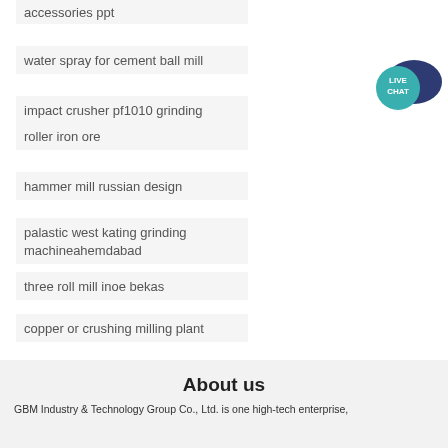accessories ppt
water spray for cement ball mill
impact crusher pf1010 grinding
roller iron ore
hammer mill russian design
palastic west kating grinding machineahemdabad
three roll mill inoe bekas
copper or crushing milling plant
[Figure (illustration): Live Chat icon — dark blue speech bubble with teal circle containing text LIVE CHAT]
About us
GBM Industry & Technology Group Co., Ltd. is one high-tech enterprise,